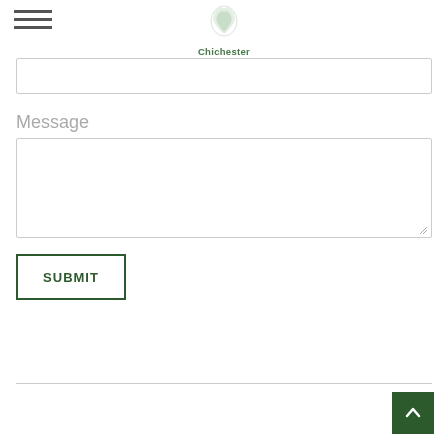Chichester Financial Group LLC
(input field - top)
Message
(textarea field)
SUBMIT